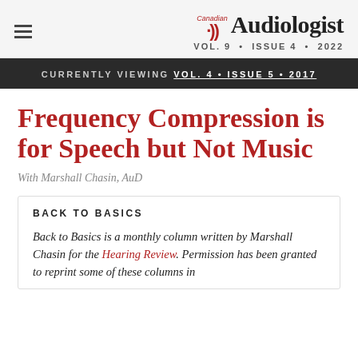Canadian Audiologist VOL. 9 • ISSUE 4 • 2022
CURRENTLY VIEWING VOL. 4 • ISSUE 5 • 2017
Frequency Compression is for Speech but Not Music
With Marshall Chasin, AuD
BACK TO BASICS
Back to Basics is a monthly column written by Marshall Chasin for the Hearing Review. Permission has been granted to reprint some of these columns in